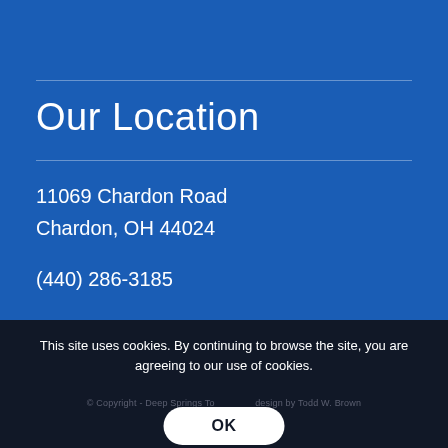Our Location
11069 Chardon Road
Chardon, OH 44024
(440) 286-3185
This site uses cookies. By continuing to browse the site, you are agreeing to our use of cookies.
© Copyright - Deep Springs To [design by Todd W. Brown]
OK